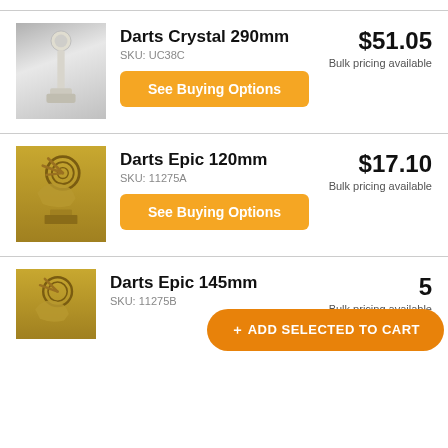[Figure (photo): Crystal trophy figurine, tall white/translucent column with sphere on top]
Darts Crystal 290mm
SKU: UC38C
See Buying Options
$51.05
Bulk pricing available
[Figure (photo): Gold darts trophy figurine with dartboard and darts motif]
Darts Epic 120mm
SKU: 11275A
See Buying Options
$17.10
Bulk pricing available
[Figure (photo): Gold darts trophy figurine, partially visible at bottom]
Darts Epic 145mm
SKU: 11275B
Bulk pricing available
+ ADD SELECTED TO CART